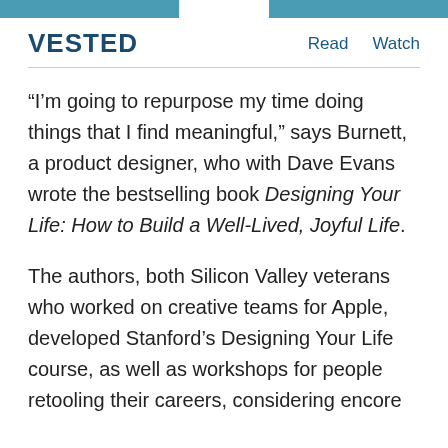VESTED | Read | Watch
“I’m going to repurpose my time doing things that I find meaningful,” says Burnett, a product designer, who with Dave Evans wrote the bestselling book Designing Your Life: How to Build a Well-Lived, Joyful Life.
The authors, both Silicon Valley veterans who worked on creative teams for Apple, developed Stanford’s Designing Your Life course, as well as workshops for people retooling their careers, considering encore